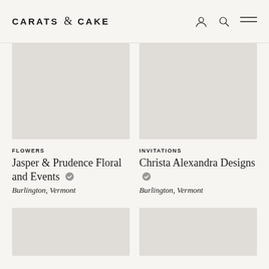CARATS & CAKE
[Figure (photo): Placeholder image for Jasper & Prudence Floral and Events]
[Figure (photo): Placeholder image for Christa Alexandra Designs]
FLOWERS
Jasper & Prudence Floral and Events
Burlington, Vermont
INVITATIONS
Christa Alexandra Designs
Burlington, Vermont
[Figure (photo): Placeholder image bottom left]
[Figure (photo): Placeholder image bottom right]